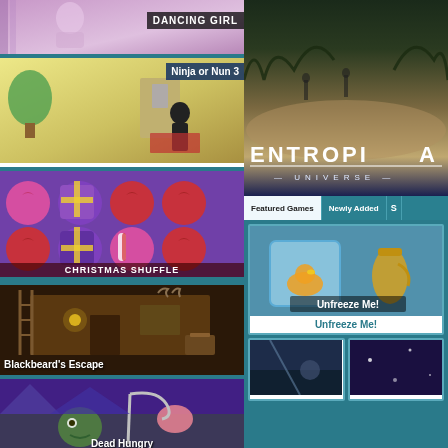[Figure (screenshot): Dancing Girl game thumbnail with purple gradient background]
DANCING GIRL
[Figure (screenshot): Ninja or Nun 3 game thumbnail with cartoon house interior background]
Ninja or Nun 3
[Figure (screenshot): Christmas Shuffle game thumbnail with colorful holiday-themed puzzle balls]
CHRISTMAS SHUFFLE
[Figure (screenshot): Blackbeard's Escape game thumbnail with dark cabin interior]
Blackbeard's Escape
[Figure (screenshot): Dead Hungry game thumbnail with zombie and purple background]
Dead Hungry
[Figure (screenshot): Entropia Universe game banner with dark forest and water scene]
ENTROPIA UNIVERSE
Featured Games
Newly Added
[Figure (screenshot): Unfreeze Me! game thumbnail showing frozen duck in ice cube with jug]
Unfreeze Me!
[Figure (screenshot): Second featured game thumbnail partially visible]